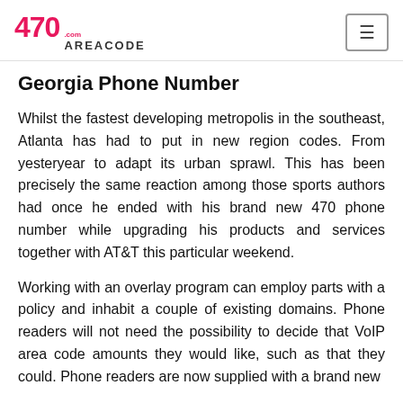470 AREACODE.com
Georgia Phone Number
Whilst the fastest developing metropolis in the southeast, Atlanta has had to put in new region codes. From yesteryear to adapt its urban sprawl. This has been precisely the same reaction among those sports authors had once he ended with his brand new 470 phone number while upgrading his products and services together with AT&T this particular weekend.
Working with an overlay program can employ parts with a policy and inhabit a couple of existing domains. Phone readers will not need the possibility to decide that VoIP area code amounts they would like, such as that they could. Phone readers are now supplied with a brand new